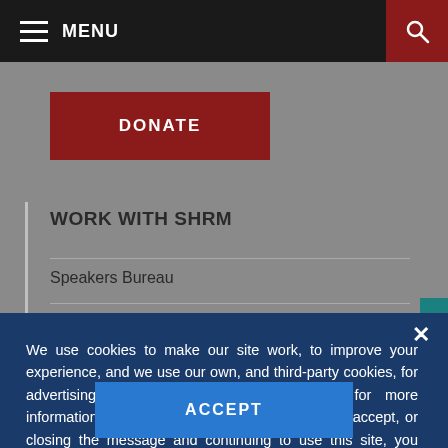MENU
DONATE
WORK WITH SHRM
Speakers Bureau
Copyright & Permissions
We use cookies to make our site work, to improve your experience, and we use our own, and third-party cookies, for advertising. Please see our Cookie Policy for more information and how to disable them. By clicking accept, or closing the message and continuing to use this site, you agree to our use of cookies.
ACCEPT